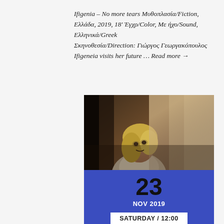Ifigenia – No more tears Μυθοπλασία/Fiction, Ελλάδα, 2019, 18' Έγχρ/Color, Με ήχο/Sound, Ελληνικά/Greek Σκηνοθεσία/Direction: Γιώργος Γεωργακόπουλος Ifigeneia visits her future … Read more →
[Figure (photo): A woman with blonde hair wearing a white top, looking upward, photographed inside a rustic stone or wooden interior. Film still from Ifigenia.]
23 NOV 2019
SATURDAY / 12:00